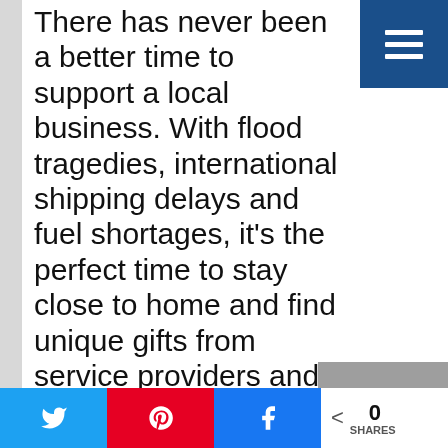There has never been a better time to support a local business. With flood tragedies, international shipping delays and fuel shortages, it’s the perfect time to stay close to home and find unique gifts from service providers and entrepreneurs in our own neighbourhood this holiday season.
Art and Fashion
Glass artist Debbie Hungle
[Figure (photo): Grey image placeholder for a photo related to glass artist Debbie Hungle]